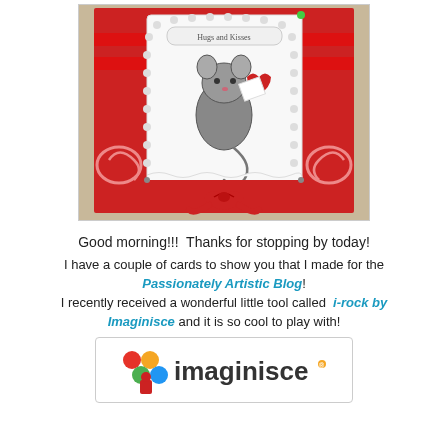[Figure (photo): A handmade greeting card with red and white design, featuring a mouse holding a heart, red ribbon bow, decorative white scalloped border with pearl accents, and 'Hugs and Kisses' label at top.]
Good morning!!!  Thanks for stopping by today!
I have a couple of cards to show you that I made for the Passionately Artistic Blog! I recently received a wonderful little tool called  i-rock by Imaginisce and it is so cool to play with!
[Figure (logo): Imaginisce logo with colorful dots and a figure icon, text reads 'imaginisce' with a registered trademark dot pattern.]